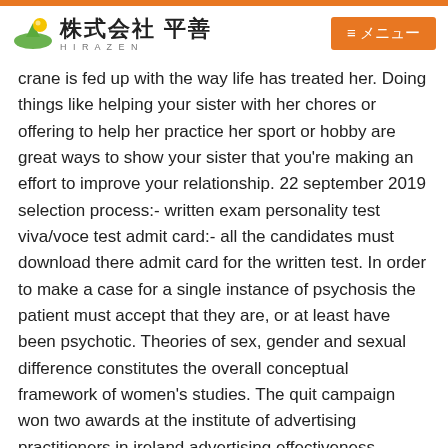株式会社 平善 HIRAZEN | ≡メニュー
crane is fed up with the way life has treated her. Doing things like helping your sister with her chores or offering to help her practice her sport or hobby are great ways to show your sister that you're making an effort to improve your relationship. 22 september 2019 selection process:- written exam personality test viva/voce test admit card:- all the candidates must download there admit card for the written test. In order to make a case for a single instance of psychosis the patient must accept that they are, or at least have been psychotic. Theories of sex, gender and sexual difference constitutes the overall conceptual framework of women's studies. The quit campaign won two awards at the institute of advertising practitioners in ireland advertising effectiveness awards in 2014.
[Figure (illustration): Broken image placeholder with caption: Orlando Asian Online Dating Service]
Finally in the kurri kurri mid s, the number of immigrants